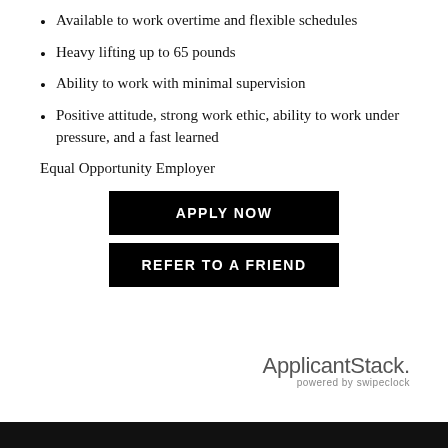Available to work overtime and flexible schedules
Heavy lifting up to 65 pounds
Ability to work with minimal supervision
Positive attitude, strong work ethic, ability to work under pressure, and a fast learned
Equal Opportunity Employer
[Figure (other): APPLY NOW button (black rectangle with white text)]
[Figure (other): REFER TO A FRIEND button (black rectangle with white text)]
[Figure (logo): ApplicantStack powered by swipeclock logo]